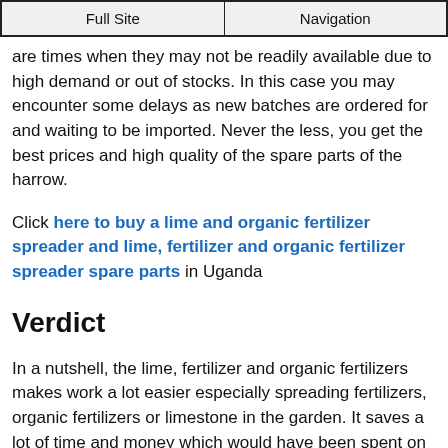Full Site | Navigation
are times when they may not be readily available due to high demand or out of stocks. In this case you may encounter some delays as new batches are ordered for and waiting to be imported. Never the less, you get the best prices and high quality of the spare parts of the harrow.
Click here to buy a lime and organic fertilizer spreader and lime, fertilizer and organic fertilizer spreader spare parts in Uganda
Verdict
In a nutshell, the lime, fertilizer and organic fertilizers makes work a lot easier especially spreading fertilizers, organic fertilizers or limestone in the garden. It saves a lot of time and money which would have been spent on doing the same job manually by the farmer.